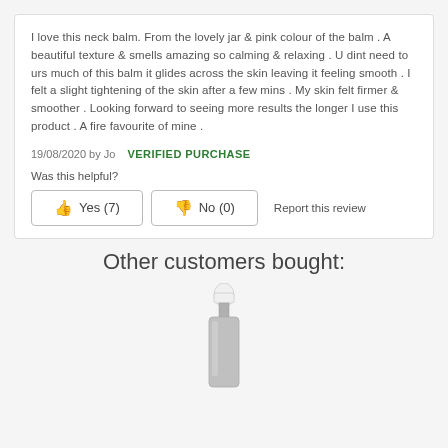I love this neck balm. From the lovely jar & pink colour of the balm . A beautiful texture & smells amazing so calming & relaxing . U dint need to urs much of this balm it glides across the skin leaving it feeling smooth . I felt a slight tightening of the skin after a few mins . My skin felt firmer & smoother . Looking forward to seeing more results the longer I use this product . A fire favourite of mine .
19/08/2020 by Jo  VERIFIED PURCHASE
Was this helpful?
Yes (7)   No (0)   Report this review
Other customers bought:
[Figure (photo): A serum or dropper bottle product image, silver/grey body with white dropper cap, partially visible at bottom of page]